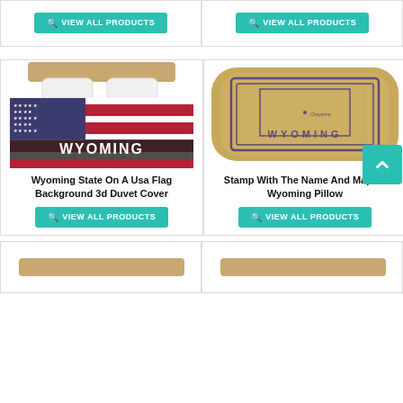[Figure (screenshot): Top-left product card with VIEW ALL PRODUCTS button (teal)]
[Figure (screenshot): Top-right product card with VIEW ALL PRODUCTS button (teal)]
[Figure (photo): Wyoming State On A USA Flag Background 3D Duvet Cover product image]
Wyoming State On A USA Flag Background 3d Duvet Cover
VIEW ALL PRODUCTS
[Figure (photo): Stamp With The Name And Map Of Wyoming Pillow product image]
Stamp With The Name And Map Of Wyoming Pillow
VIEW ALL PRODUCTS
[Figure (screenshot): Bottom-left product card, partially visible]
[Figure (screenshot): Bottom-right product card, partially visible]